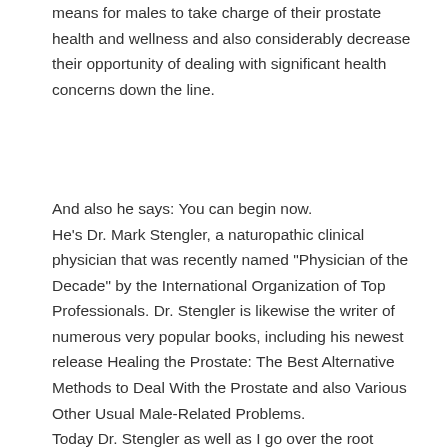means for males to take charge of their prostate health and wellness and also considerably decrease their opportunity of dealing with significant health concerns down the line.

And also he says: You can begin now.
He's Dr. Mark Stengler, a naturopathic clinical physician that was recently named "Physician of the Decade" by the International Organization of Top Professionals. Dr. Stengler is likewise the writer of numerous very popular books, including his newest release Healing the Prostate: The Best Alternative Methods to Deal With the Prostate and also Various Other Usual Male-Related Problems.
Today Dr. Stengler as well as I go over the root causes behind several of one of the most common men's health issues as well as share just how you (or the males in your life) can make use of diet plan, supplements, and also lifestyle choices to sustain a healthy prostate.